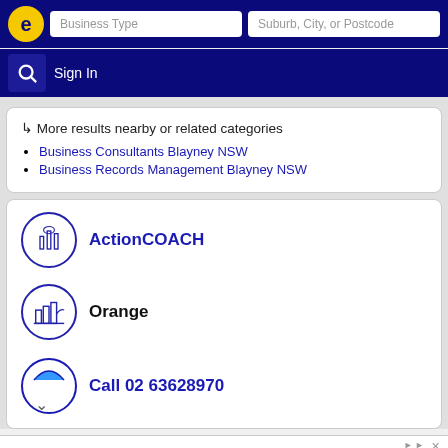Business Type | Suburb, City, or Postcode | Sign In
↳ More results nearby or related categories
Business Consultants Blayney NSW
Business Records Management Blayney NSW
ActionCOACH
Orange
Call 02 63628970
[Figure (infographic): Advertisement banner: 1st Heritage Realty logo, headline 'Local Real Estate Expert', subtext 'Be The First To Know About New Listings In Your Neighborhood 1st Heritage Realty', Open button]